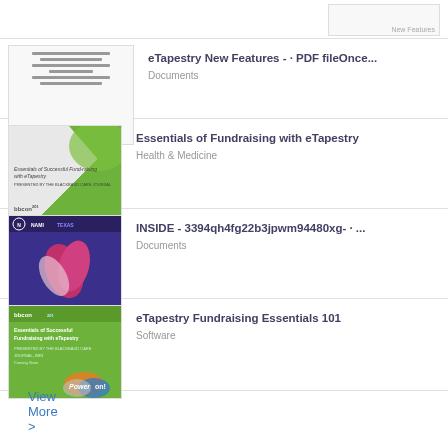eTapestry New Features - · PDF fileOnce...
Documents
Essentials of Fundraising with eTapestry
Health & Medicine
INSIDE - 3394qh4fg22b3jpwm94480xg- · ...
Documents
eTapestry Fundraising Essentials 101
Software
View More >